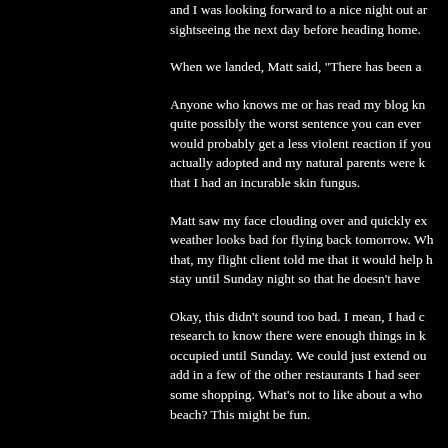and I was looking forward to a nice night out and sightseeing the next day before heading home.
When we landed, Matt said, "There has been a...
Anyone who knows me or has read my blog knows quite possibly the worst sentence you can ever... would probably get a less violent reaction if you... actually adopted and my natural parents were k... that I had an incurable skin fungus.
Matt saw my face clouding over and quickly ex... weather looks bad for flying back tomorrow. Wh... that, my flight client told me that it would help h... stay until Sunday night so that he doesn't have...
Okay, this didn't sound too bad. I mean, I had c... research to know there were enough things in k... occupied until Sunday. We could just extend ou... add in a few of the other restaurants I had seer... some shopping. What's not to like about a who... beach? This might be fun.